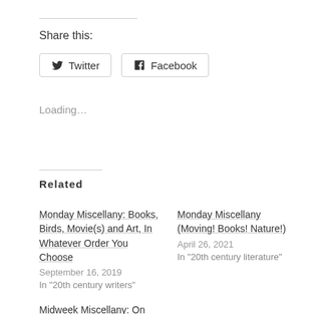Share this:
Twitter   Facebook
Loading...
Related
Monday Miscellany: Books, Birds, Movie(s) and Art, In Whatever Order You Choose
September 16, 2019
In "20th century writers"
Monday Miscellany (Moving! Books! Nature!)
April 26, 2021
In "20th century literature"
Midweek Miscellany: On the Road Again! (Books! Museums! Springtime!)
May 12, 2021
In "2021 classics challenge"